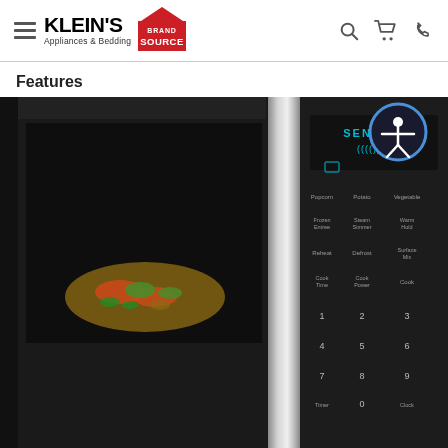Klein's Appliances & Bedding - Brand Source
Features
[Figure (photo): Close-up photo of a stainless steel over-the-range microwave oven with food visible inside through the glass door window. The right side shows the control panel with buttons labeled Popcorn, Potato, Vegetable, Frozen Entree, Steam Simmer, Warm Hold, Reheat, Defrost, Surface Mix, Cook Time, Cook Power, Cook, and a numeric keypad 1-9 plus 0. The display shows SENSING with wave symbols. An accessibility icon button (person with arms outstretched in a circle) is visible in the upper right corner of the image.]